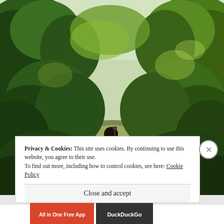[Figure (photo): A hiker with a backpack and camera walking along a narrow jungle trail flanked by dense green forest and shrubs, viewed from behind. Overcast misty sky visible through the canopy.]
Privacy & Cookies: This site uses cookies. By continuing to use this website, you agree to their use.
To find out more, including how to control cookies, see here: Cookie Policy
Close and accept
[Figure (other): Advertisement bar with orange 'All in One Free App' button and dark DuckDuckGo button]